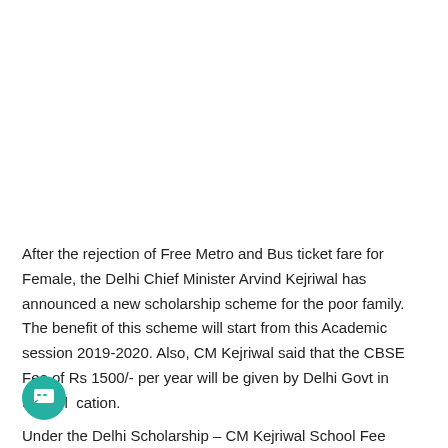After the rejection of Free Metro and Bus ticket fare for Female, the Delhi Chief Minister Arvind Kejriwal has announced a new scholarship scheme for the poor family. The benefit of this scheme will start from this Academic session 2019-2020. Also, CM Kejriwal said that the CBSE Fee of Rs 1500/- per year will be given by Delhi Govt in School education.
Under the Delhi Scholarship – CM Kejriwal School Fee